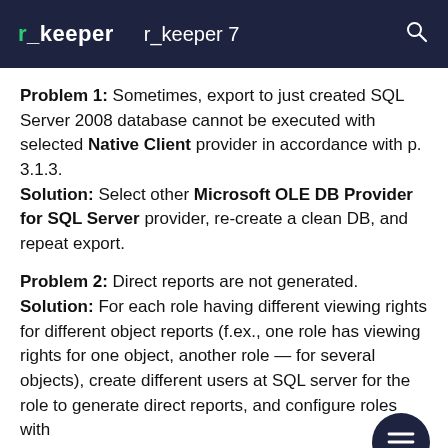r_keeper   r_keeper 7
Problem 1: Sometimes, export to just created SQL Server 2008 database cannot be executed with selected Native Client provider in accordance with p. 3.1.3.
Solution: Select other Microsoft OLE DB Provider for SQL Server provider, re-create a clean DB, and repeat export.
Problem 2: Direct reports are not generated.
Solution: For each role having different viewing rights for different object reports (f.ex., one role has viewing rights for one object, another role — for several objects), create different users at SQL server for the role to generate direct reports, and configure roles with